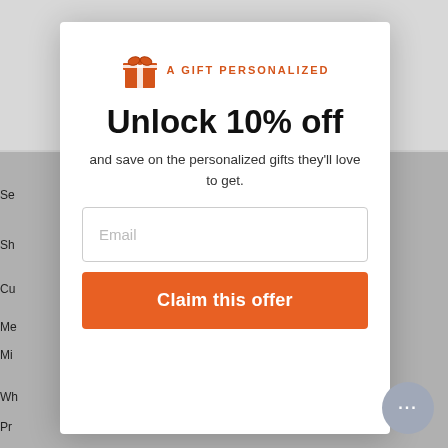[Figure (screenshot): A gift personalized logo with orange gift box icon and text 'A GIFT PERSONALIZED']
Unlock 10% off
and save on the personalized gifts they'll love to get.
Email (input field placeholder)
Claim this offer